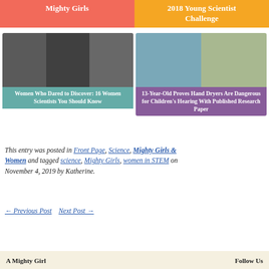[Figure (other): Salmon/coral colored button labeled 'Mighty Girls']
[Figure (other): Orange button labeled '2018 Young Scientist Challenge']
[Figure (photo): Black and white photo collage of three women scientists with teal caption overlay: 'Women Who Dared to Discover: 16 Women Scientists You Should Know']
[Figure (photo): Color photo of a teenage girl and a child near a hand dryer, with purple caption overlay: '13-Year-Old Proves Hand Dryers Are Dangerous for Children's Hearing With Published Research Paper']
This entry was posted in Front Page, Science, Mighty Girls & Women and tagged science, Mighty Girls, women in STEM on November 4, 2019 by Katherine.
← Previous Post   Next Post →
A Mighty Girl
Follow Us